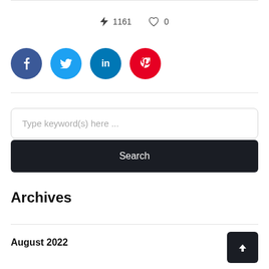⚡ 1161   ♡ 0
[Figure (infographic): Social media share buttons: Facebook (dark blue circle with f), Twitter (light blue circle with bird/t), LinkedIn (teal circle with in), Pinterest (red circle with p)]
[Figure (screenshot): Search input box with placeholder text 'Type keyword(s) here ...' and a dark Search button below]
Archives
August 2022